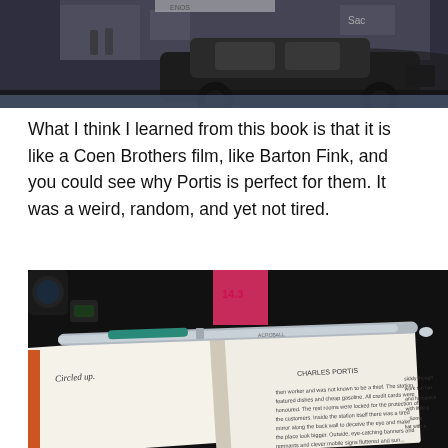[Figure (photo): Black and white photograph of a vintage car at what appears to be a gas station or street scene, with other photographic prints visible beneath it.]
What I think I learned from this book is that it is like a Coen Brothers film, like Barton Fink, and you could see why Portis is perfect for them. It was a weird, random, and yet not tired.
[Figure (photo): Photograph of an open book (Charles Portis) on a dark surface with a teal/silver pen laid across it, a pink sticky note visible in the background, and handwritten annotations visible on the book pages.]